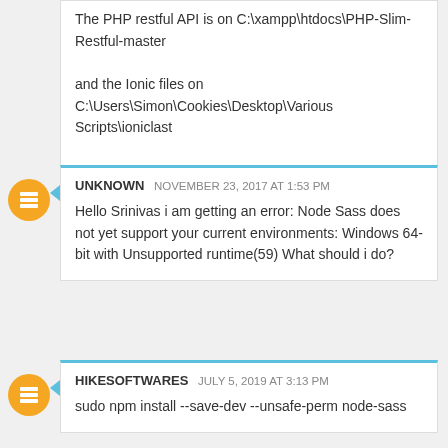The PHP restful API is on C:\xampp\htdocs\PHP-Slim-Restful-master

and the Ionic files on C:\Users\Simon\Cookies\Desktop\Various Scripts\ioniclast

what i am doing wrong?
UNKNOWN  NOVEMBER 23, 2017 AT 1:53 PM
Hello Srinivas i am getting an error: Node Sass does not yet support your current environments: Windows 64-bit with Unsupported runtime(59) What should i do?
HIKESOFTWARES  JULY 5, 2019 AT 3:13 PM
sudo npm install --save-dev --unsafe-perm node-sass